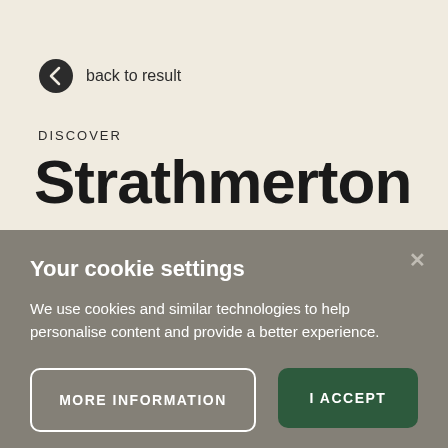back to result
DISCOVER
Strathmerton
Your cookie settings
We use cookies and similar technologies to help personalise content and provide a better experience.
MORE INFORMATION
I ACCEPT